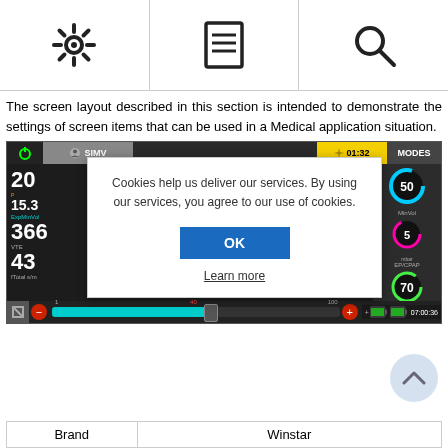[Figure (screenshot): Icon bar with three icons: settings gear, document/list, and search magnifier]
The screen layout described in this section is intended to demonstrate the settings of screen items that can be used in a Medical application situation.
[Figure (screenshot): Medical ventilator device screen showing SIMV mode with values 20, 15.3 (ExpMinVol), 366 (VTE), 43 (fTotal), right side gauges showing 50, MinVol 5 mbar, EP/CPAP 70 Oxygen, time 07:00:36, with a cookie consent dialog overlay showing 'Cookies help us deliver our services. By using our services, you agree to our use of cookies.' with an OK button and Learn more link]
| Brand | Winstar |
| --- | --- |
| Brand | Winstar |